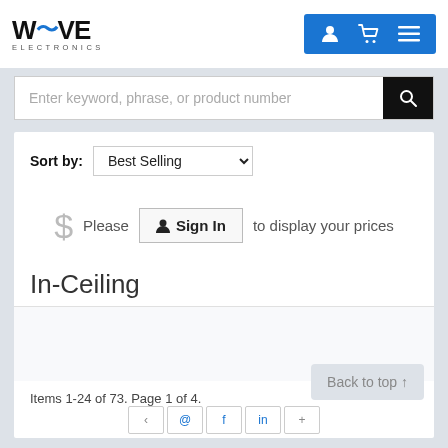WAVE ELECTRONICS
Enter keyword, phrase, or product number
Sort by: Best Selling
$ Please Sign In to display your prices
In-Ceiling
Items 1-24 of 73. Page 1 of 4.
Back to top ↑